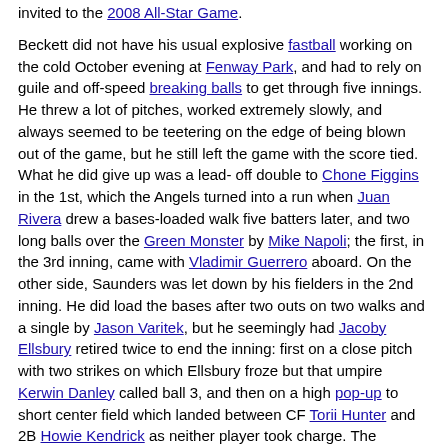invited to the 2008 All-Star Game.
Beckett did not have his usual explosive fastball working on the cold October evening at Fenway Park, and had to rely on guile and off-speed breaking balls to get through five innings. He threw a lot of pitches, worked extremely slowly, and always seemed to be teetering on the edge of being blown out of the game, but he still left the game with the score tied. What he did give up was a lead-off double to Chone Figgins in the 1st, which the Angels turned into a run when Juan Rivera drew a bases-loaded walk five batters later, and two long balls over the Green Monster by Mike Napoli; the first, in the 3rd inning, came with Vladimir Guerrero aboard. On the other side, Saunders was let down by his fielders in the 2nd inning. He did load the bases after two outs on two walks and a single by Jason Varitek, but he seemingly had Jacoby Ellsbury retired twice to end the inning: first on a close pitch with two strikes on which Ellsbury froze but that umpire Kerwin Danley called ball 3, and then on a high pop-up to short center field which landed between CF Torii Hunter and 2B Howie Kendrick as neither player took charge. The eminently catchable ball resulted in a base-clearing single and 3-1 Red Sox lead. In the bottom of the 5th, Saunders got into trouble again after two outs, giving up consecutive doubles to Coco Crisp and Ellsbury, and left after 4 2/3 innings with the score tied 4-4.
It became a battle of the bullpens and both managers sent their best